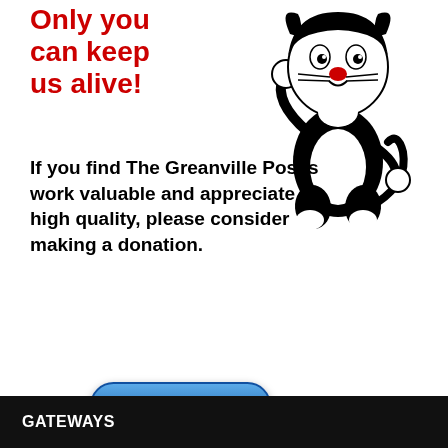Only you can keep us alive!
[Figure (illustration): Sylvester the Cat cartoon character, black and white cat in a pleading or begging pose, standing upright]
If you find The Greanville Post's work valuable and appreciate its high quality, please consider making a donation.
[Figure (other): DONATE button (blue rounded rectangle) with 'Safe & Secure' text below and PayPal logo with Visa, Mastercard, and Amex card icons]
GATEWAYS